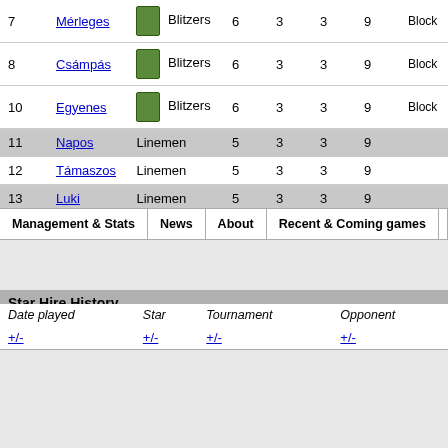| # | Name |  | Position |  |  |  |  | Skills |
| --- | --- | --- | --- | --- | --- | --- | --- | --- |
| 7 | Mérleges |  | Blitzers | 6 | 3 | 3 | 9 | Block |
| 8 | Csámpás |  | Blitzers | 6 | 3 | 3 | 9 | Block |
| 10 | Egyenes |  | Blitzers | 6 | 3 | 3 | 9 | Block |
| 11 | Napos |  | Linemen | 5 | 3 | 3 | 9 |  |
| 12 | Támaszos |  | Linemen | 5 | 3 | 3 | 9 |  |
| 13 | Luki |  | Linemen | 5 | 3 | 3 | 9 |  |
| Management & Stats | News | About | Recent & Coming games | Star Hire |
| --- | --- | --- | --- | --- |
Star Hire History
| Date played | Star | Tournament | Opponent |
| --- | --- | --- | --- |
| +/- | +/- | +/- | +/- |